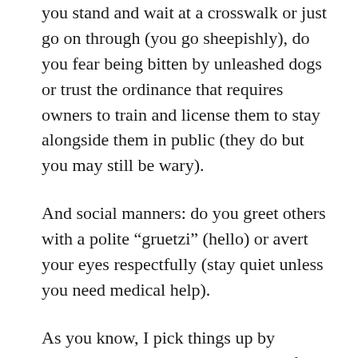you stand and wait at a crosswalk or just go on through (you go sheepishly), do you fear being bitten by unleashed dogs or trust the ordinance that requires owners to train and license them to stay alongside them in public (they do but you may still be wary).
And social manners: do you greet others with a polite “gruetzi” (hello) or avert your eyes respectfully (stay quiet unless you need medical help).
As you know, I pick things up by blundering through. But this right of way way of not making way ticked me